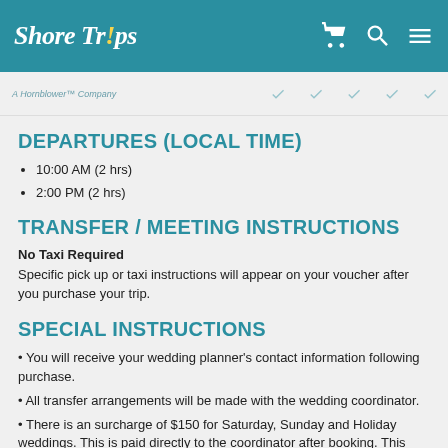ShoreTrips — A Hornblower™ Company
DEPARTURES (LOCAL TIME)
10:00 AM (2 hrs)
2:00 PM (2 hrs)
TRANSFER / MEETING INSTRUCTIONS
No Taxi Required
Specific pick up or taxi instructions will appear on your voucher after you purchase your trip.
SPECIAL INSTRUCTIONS
You will receive your wedding planner's contact information following purchase.
All transfer arrangements will be made with the wedding coordinator.
There is an surcharge of $150 for Saturday, Sunday and Holiday weddings. This is paid directly to the coordinator after booking. This does not apply to vow renewals or symbolic ceremonies.
Cost of photography disc is additional, or you may purchase individual prints...